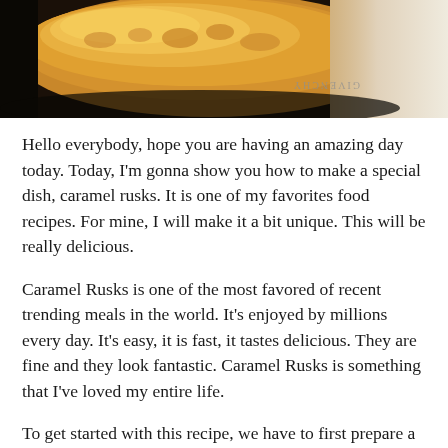[Figure (photo): Close-up photo of a golden-brown caramel rusk/muffin with a Givenchy cup partially visible in the background, on a white background.]
Hello everybody, hope you are having an amazing day today. Today, I'm gonna show you how to make a special dish, caramel rusks. It is one of my favorites food recipes. For mine, I will make it a bit unique. This will be really delicious.
Caramel Rusks is one of the most favored of recent trending meals in the world. It's enjoyed by millions every day. It's easy, it is fast, it tastes delicious. They are fine and they look fantastic. Caramel Rusks is something that I've loved my entire life.
To get started with this recipe, we have to first prepare a few components. You can have caramel rusks using 7 ingredients and 11 steps. Here is how you can achieve